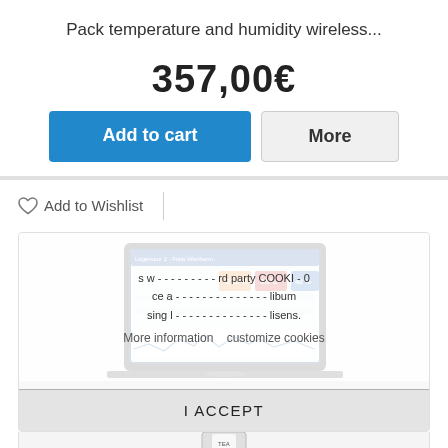Pack temperature and humidity wireless...
357,00€
Add to cart
More
Add to Wishlist
[Figure (screenshot): Screenshot of a monitoring dashboard on a laptop screen showing temperature and humidity sensor data with orange, red, and blue colored widgets, and a graph below. Cookie consent overlay is visible with text and 'More information', 'customize cookies' links, and an 'I ACCEPT' button.]
I ACCEPT